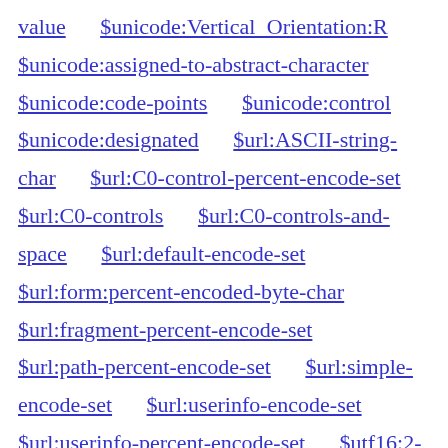value $unicode:Vertical Orientation:R $unicode:assigned-to-abstract-character $unicode:code-points $unicode:control $unicode:designated $url:ASCII-string-char $url:C0-control-percent-encode-set $url:C0-controls $url:C0-controls-and-space $url:default-encode-set $url:form:percent-encoded-byte-char $url:fragment-percent-encode-set $url:path-percent-encode-set $url:simple-encode-set $url:userinfo-encode-set $url:userinfo-percent-encode-set $utf16:2-bytes $utf8:1-byte $uts46:disallowed STD3 valid $xml11:Char $xml11:RestrictedChar $xml11:discouraged $xml:charref-parse-error $xml:charref-parse-error-only